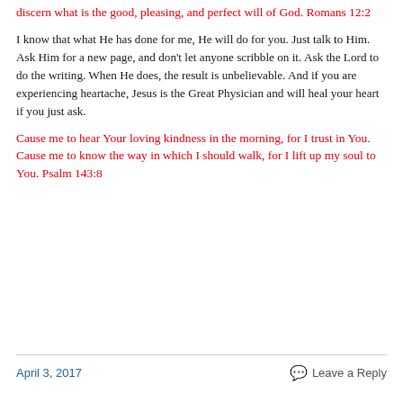discern what is the good, pleasing, and perfect will of God. Romans 12:2
I know that what He has done for me, He will do for you. Just talk to Him. Ask Him for a new page, and don't let anyone scribble on it. Ask the Lord to do the writing. When He does, the result is unbelievable. And if you are experiencing heartache, Jesus is the Great Physician and will heal your heart if you just ask.
Cause me to hear Your loving kindness in the morning, for I trust in You. Cause me to know the way in which I should walk, for I lift up my soul to You. Psalm 143:8
April 3, 2017   Leave a Reply